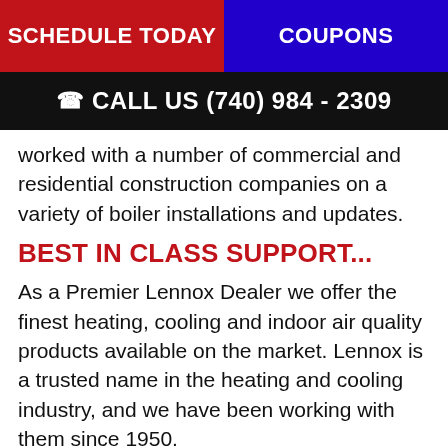SCHEDULE TODAY | COUPONS
CALL US (740) 984 - 2309
worked with a number of commercial and residential construction companies on a variety of boiler installations and updates.
BEST IN CLASS SUPPORT...
As a Premier Lennox Dealer we offer the finest heating, cooling and indoor air quality products available on the market. Lennox is a trusted name in the heating and cooling industry, and we have been working with them since 1950.